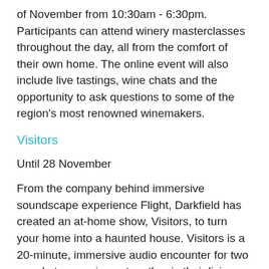of November from 10:30am - 6:30pm. Participants can attend winery masterclasses throughout the day, all from the comfort of their own home. The online event will also include live tastings, wine chats and the opportunity to ask questions to some of the region's most renowned winemakers.
Visitors
Until 28 November
From the company behind immersive soundscape experience Flight, Darkfield has created an at-home show, Visitors, to turn your home into a haunted house. Visitors is a 20-minute, immersive audio encounter for two people to experience together in their living room in their home. Participants will turn out the lights and close their eyes while the soundscape and their imagination takes them on a wild journey.